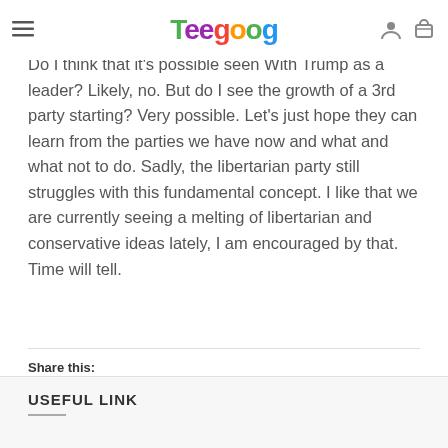Teegoog [navigation bar with hamburger menu, logo, user icon, cart icon]
Do I think that it's possible seen With Trump as a leader? Likely, no. But do I see the growth of a 3rd party starting? Very possible. Let's just hope they can learn from the parties we have now and what and what not to do. Sadly, the libertarian party still struggles with this fundamental concept. I like that we are currently seeing a melting of libertarian and conservative ideas lately, I am encouraged by that. Time will tell.
Share this:
USEFUL LINK